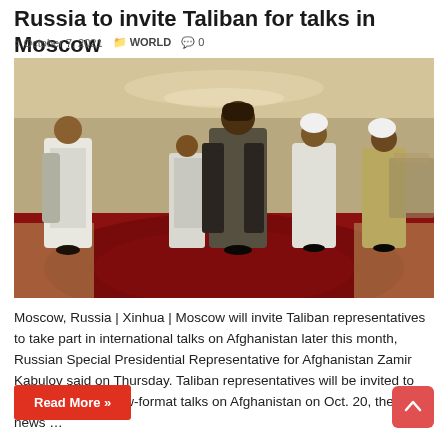Russia to invite Taliban for talks in Moscow
October 7, 2021   WORLD   0
[Figure (photo): Several Taliban representatives walking through a hotel lobby with red carpet, wearing traditional Afghan dress including turbans and scarves.]
Moscow, Russia | Xinhua | Moscow will invite Taliban representatives to take part in international talks on Afghanistan later this month, Russian Special Presidential Representative for Afghanistan Zamir Kabulov said on Thursday. Taliban representatives will be invited to take part in Moscow-format talks on Afghanistan on Oct. 20, the TASS news …
Read More »